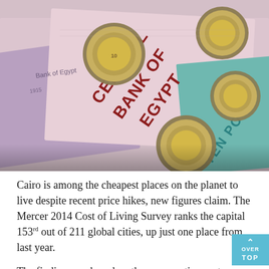[Figure (photo): Close-up photo of Egyptian currency — pink/purple Central Bank of Egypt banknotes with text 'CENTRAL BANK OF EGYPT' and 'TEN PO[UNDS]' visible, overlaid with several bimetallic coins (gold center, silver ring).]
Cairo is among the cheapest places on the planet to live despite recent price hikes, new figures claim. The Mercer 2014 Cost of Living Survey ranks the capital 153rd out of 211 global cities, up just one place from last year.
The findings are based on the comparative cost of over 200 items in each location, including housing, transportation, food, clothing, household goods, and